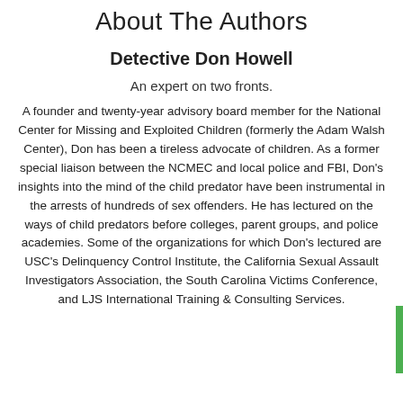About The Authors
Detective Don Howell
An expert on two fronts.
A founder and twenty-year advisory board member for the National Center for Missing and Exploited Children (formerly the Adam Walsh Center), Don has been a tireless advocate of children. As a former special liaison between the NCMEC and local police and FBI, Don’s insights into the mind of the child predator have been instrumental in the arrests of hundreds of sex offenders. He has lectured on the ways of child predators before colleges, parent groups, and police academies. Some of the organizations for which Don’s lectured are USC’s Delinquency Control Institute, the California Sexual Assault Investigators Association, the South Carolina Victims Conference, and LJS International Training & Consulting Services.